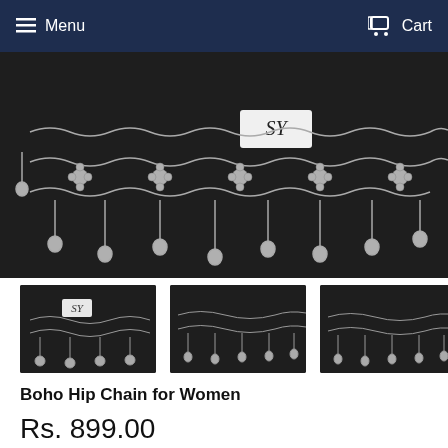Menu   Cart
[Figure (photo): Close-up photo of a silver Boho Hip Chain jewelry piece with intricate chain links, floral connectors, and small bell charms dangling from the bottom, displayed on a dark background with a 'SY' label card visible.]
[Figure (photo): Thumbnail image 1: Boho Hip Chain displayed from a slightly wider angle on dark background.]
[Figure (photo): Thumbnail image 2: Boho Hip Chain displayed showing the full width on dark background.]
[Figure (photo): Thumbnail image 3: Boho Hip Chain displayed from a different angle on dark background.]
Boho Hip Chain for Women
Rs. 899.00